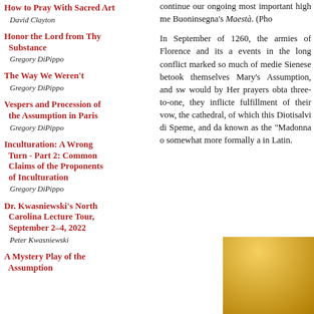How to Pray With Sacred Art
David Clayton
Honor the Lord from Thy Substance
Gregory DiPippo
The Way We Weren't
Gregory DiPippo
Vespers and Procession of the Assumption in Paris
Gregory DiPippo
Inculturation: A Wrong Turn - Part 2: Common Claims of the Proponents of Inculturation
Gregory DiPippo
Dr. Kwasniewski's North Carolina Lecture Tour, September 2–4, 2022
Peter Kwasniewski
A Mystery Play of the Assumption
continue our ongoing... most important high me... Buoninsegna's Maestà. (Pho...
In September of 1260, the armies of Florence and its a... events in the long conflict... marked so much of medie... Sienese betook themselves... Mary's Assumption, and sw... would by Her prayers obta... three-to-one, they inflicte... fulfillment of their vow, the... cathedral, of which this... Diotisalvi di Speme, and da... known as the "Madonna o... somewhat more formally a... in Latin.
[Figure (photo): Partial view of a golden circular artwork or medallion, showing warm gold tones, cropped in the bottom-right corner of the page.]